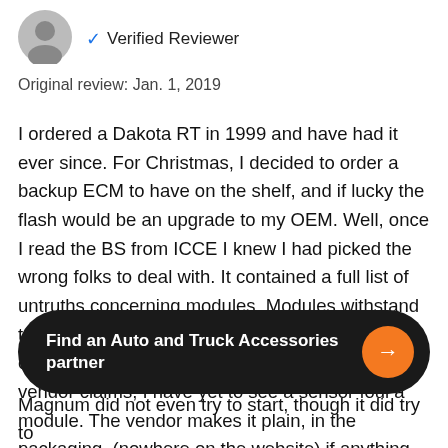[Figure (illustration): Gray circle avatar icon with a verified reviewer badge and checkmark]
✓ Verified Reviewer
Original review: Jan. 1, 2019
I ordered a Dakota RT in 1999 and have had it ever since. For Christmas, I decided to order a backup ECM to have on the shelf, and if lucky the flash would be an upgrade to my OEM. Well, once I read the BS from ICCE I knew I had picked the wrong folks to deal with. It contained a full list of untruths concerning modules. Modules withstand tremendous loading in crashes and all sorts of cleaners and solvents and despite what the vendor claims, I have yet to see a sensor foul a module. The vendor makes it plain, in the packaging, (nowhere on the website) if anything goes wrong with your purchased module, it
Find an Auto and Truck Accessories partner
Magnum did not even try to start, though it did try to